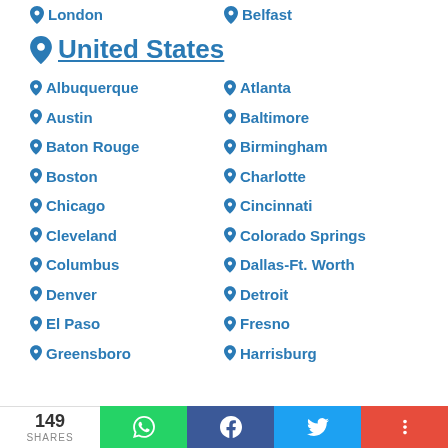London
Belfast
United States
Albuquerque
Atlanta
Austin
Baltimore
Baton Rouge
Birmingham
Boston
Charlotte
Chicago
Cincinnati
Cleveland
Colorado Springs
Columbus
Dallas-Ft. Worth
Denver
Detroit
El Paso
Fresno
Greensboro
Harrisburg
149 SHARES